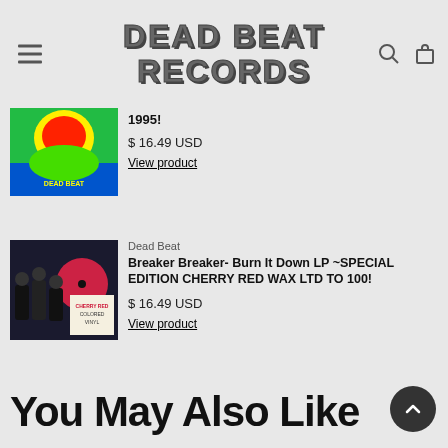Dead Beat Records
1995!
$ 16.49 USD
View product
Dead Beat
Breaker Breaker- Burn It Down LP ~SPECIAL EDITION CHERRY RED WAX LTD TO 100!
$ 16.49 USD
View product
You May Also Like